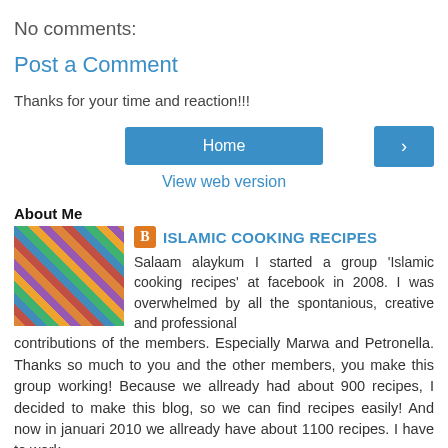No comments:
Post a Comment
Thanks for your time and reaction!!!
Home  [>]
View web version
About Me
ISLAMIC COOKING RECIPES
Salaam alaykum I started a group 'Islamic cooking recipes' at facebook in 2008. I was overwhelmed by all the spontanious, creative and professional contributions of the members. Especially Marwa and Petronella. Thanks so much to you and the other members, you make this group working! Because we allready had about 900 recipes, I decided to make this blog, so we can find recipes easily! And now in januari 2010 we allready have about 1100 recipes. I have to work